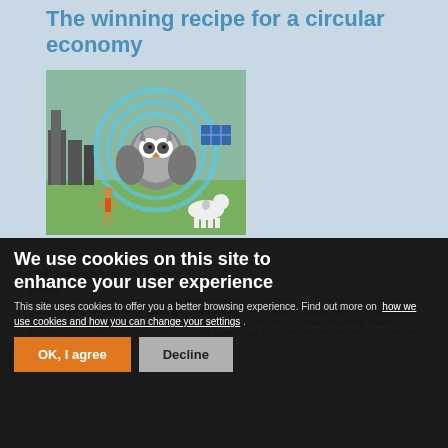The winning recipe for a circular economy
[Figure (illustration): An owl surrounded by circular blue rings with icons of technology and sustainability items, set against a city skyline and green field background]
Type:
Publishing Organisation or Company:
Authors: Krisztina Frankó (Deloitte Hungary), Hanne Jersild Petersen (Deloitte Denmark), Hans-Martin Hochschild, Elma Simic, and Mika Sulkinoja (Sitra), Laura Björklund, Nina Arola, Esel Tokunen, Nicolas Dolce, Nils Quimannann (Deloitte Finland), Olivier Jan, Pierre Cauvet, Andreas Mitsios, Khai Linh Lhommeau, Raphaelle Bataille (Deloitte France), Akira Kato, Arisa Kimura (Deloitte Japan), Jade Solly, Jillian Rodak, Tamara Loisce (Deloitte Canada).
Publication Date:
We use cookies on this site to enhance your user experience
This site uses cookies to offer you a better browsing experience. Find out more on how we use cookies and how you can change your settings .